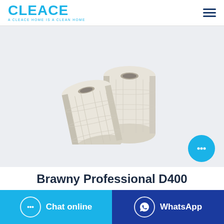CLEACE - A CLEACE HOME IS A CLEAN HOME
[Figure (photo): Two rolls of white Brawny Professional D400 toilet paper/tissue rolls standing and leaning against each other on a light grey background.]
Brawny Professional D400
Chat online
WhatsApp